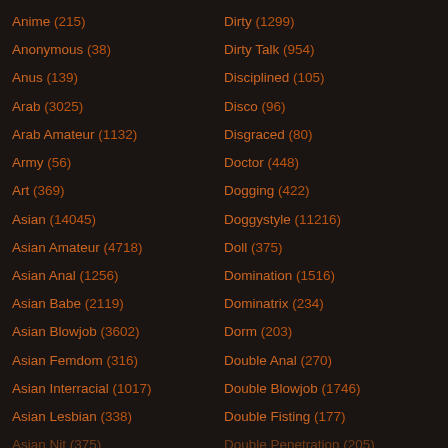Anime (215)
Dirty (1299)
Anonymous (38)
Dirty Talk (954)
Anus (139)
Disciplined (105)
Arab (3025)
Disco (96)
Arab Amateur (1132)
Disgraced (80)
Army (56)
Doctor (448)
Art (369)
Dogging (422)
Asian (14045)
Doggystyle (11216)
Asian Amateur (4718)
Doll (375)
Asian Anal (1256)
Domination (1516)
Asian Babe (2119)
Dominatrix (234)
Asian Blowjob (3602)
Dorm (203)
Asian Femdom (316)
Double Anal (270)
Asian Interracial (1017)
Double Blowjob (1746)
Asian Lesbian (338)
Double Fisting (177)